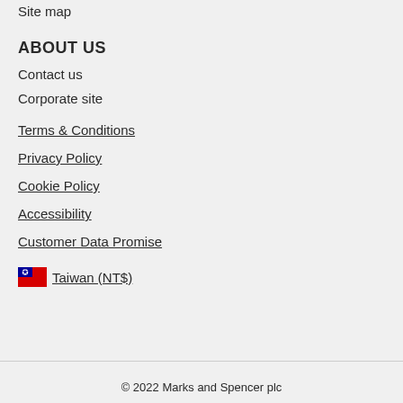Site map
ABOUT US
Contact us
Corporate site
Terms & Conditions
Privacy Policy
Cookie Policy
Accessibility
Customer Data Promise
Taiwan (NT$)
© 2022 Marks and Spencer plc